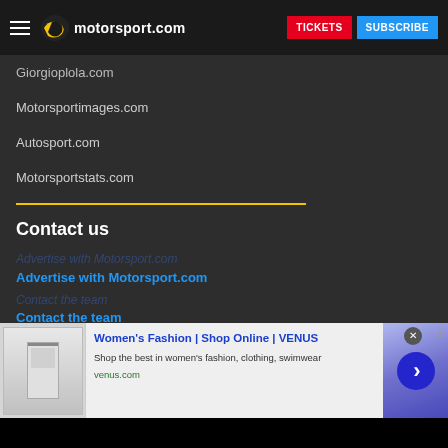motorsport.com | TICKETS | SUBSCRIBE
Giorgioplola.com
Motorsportimages.com
Autosport.com
Motorsportstats.com
Contact us
Advertise with Motorsport.com
Contact the team
+1 305 507 87 99
5972 NE 4th Avenue
Miami, FL 33137
[Figure (screenshot): Advertisement banner for Women's Fashion | Shop Online | VENUS — Shop the best in women's fashion, clothing, swimwear. venus.com]